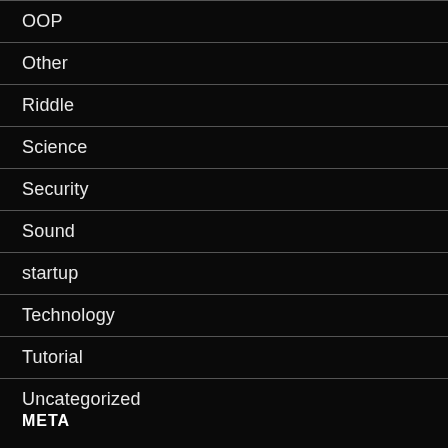OOP
Other
Riddle
Science
Security
Sound
startup
Technology
Tutorial
Uncategorized
META